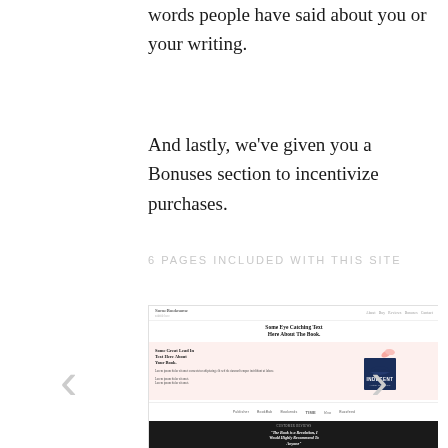words people have said about you or your writing.
And lastly, we've given you a Bonuses section to incentivize purchases.
6 PAGES INCLUDED WITH THIS SITE
[Figure (screenshot): Screenshot of a book landing page website with navigation bar, hero headline 'Some Eye Catching Text Here About The Book.', a pink section with lead text and a book cover image for 'Indecent', a logos/press bar, and a dark footer testimonial section with bold italic quote 'The Book is a Revelation, I Would Highly Recommend To Anyone'.]
< (left arrow navigation)
> (right arrow navigation)